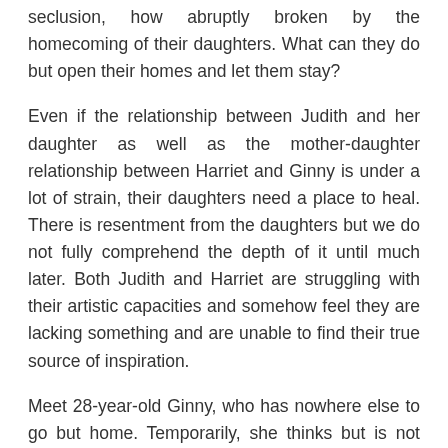seclusion, how abruptly broken by the homecoming of their daughters. What can they do but open their homes and let them stay?
Even if the relationship between Judith and her daughter as well as the mother-daughter relationship between Harriet and Ginny is under a lot of strain, their daughters need a place to heal. There is resentment from the daughters but we do not fully comprehend the depth of it until much later. Both Judith and Harriet are struggling with their artistic capacities and somehow feel they are lacking something and are unable to find their true source of inspiration.
Meet 28-year-old Ginny, who has nowhere else to go but home. Temporarily, she thinks but is not sure as her whole life feels upside down. It is depressing to move back into your childhood rooms but what can you do when your boyfriend has successfully isolated you from almost all of your friends and stopped your academic career? Plus, Ginny simply has no idea what to do with her life.